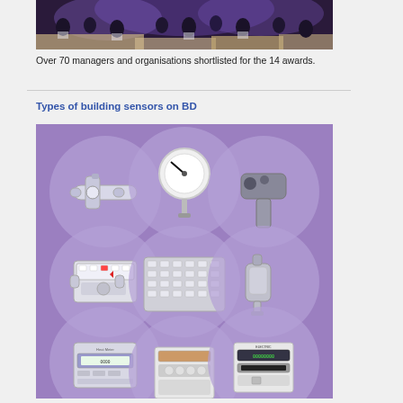[Figure (photo): Photo of a gala dinner event with people seated at tables in a formal banquet hall with purple/blue lighting]
Over 70 managers and organisations shortlisted for the 14 awards.
Types of building sensors on BD
[Figure (illustration): Infographic showing types of building sensors on BD: flow meter, pressure gauge, motion/occupancy sensor, water meter, keypad/control panel, pressure transmitter, heat meter, gas meter, electricity meter - all displayed as icons on a purple background with circular highlights]